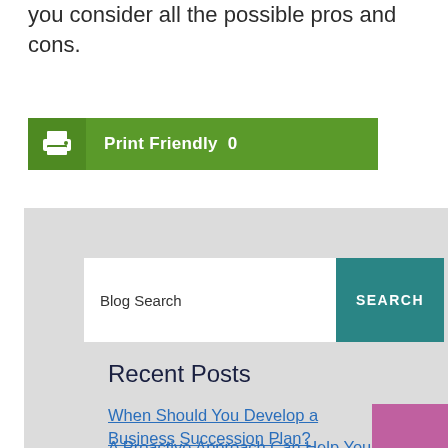you consider all the possible pros and cons.
[Figure (screenshot): Green Print Friendly button with printer icon and label 'Print Friendly 0']
[Figure (screenshot): Gray sidebar with Blog Search input box and teal SEARCH button, Recent Posts heading, and linked article titles]
Recent Posts
When Should You Develop a Business Succession Plan?
A Proactive Approach Can Help You